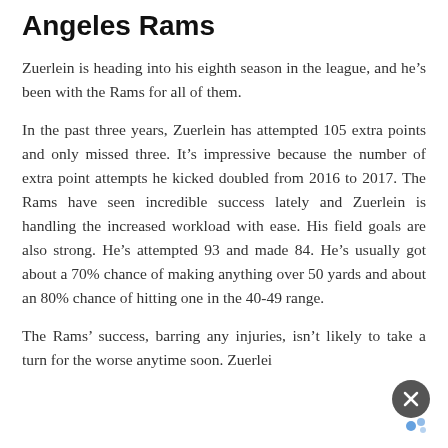Angeles Rams
Zuerlein is heading into his eighth season in the league, and he's been with the Rams for all of them.
In the past three years, Zuerlein has attempted 105 extra points and only missed three. It's impressive because the number of extra point attempts he kicked doubled from 2016 to 2017. The Rams have seen incredible success lately and Zuerlein is handling the increased workload with ease. His field goals are also strong. He's attempted 93 and made 84. He's usually got about a 70% chance of making anything over 50 yards and about an 80% chance of hitting one in the 40-49 range.
The Rams' success, barring any injuries, isn't likely to take a turn for the worse anytime soon. Zuerlein es